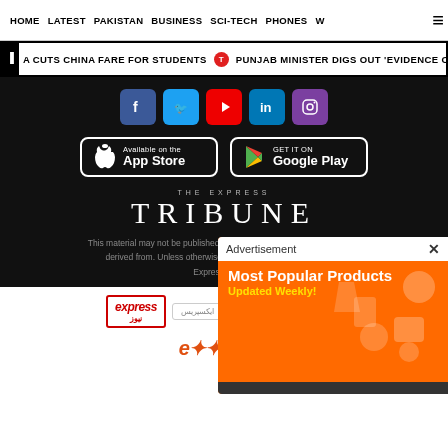HOME  LATEST  PAKISTAN  BUSINESS  SCI-TECH  PHONES  W
A CUTS CHINA FARE FOR STUDENTS  •  PUNJAB MINISTER DIGS OUT 'EVIDENCE OF T
[Figure (screenshot): Social media icons: Facebook, Twitter, YouTube, LinkedIn, Instagram]
[Figure (screenshot): App download buttons: Available on the App Store, Get it on Google Play]
[Figure (logo): The Express Tribune logo in white on dark background]
This material may not be published, broadcast, rewritten, redistributed or derived from. Unless otherwise stated, all content is property of The Express Tribune.
[Figure (logo): Partner logos: express news, ایکسپریس, Cricket Pakistan, mybrand, another logo]
[Figure (logo): express orange logo]
[Figure (screenshot): Advertisement overlay: Most Popular Products Updated Weekly! with shopping icons on orange background]